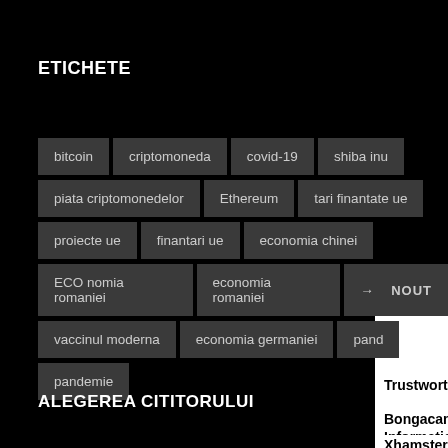ETICHETE
bitcoin
criptomoneda
covid-19
shiba inu
piata criptomonedelor
Ethereum
tari finantate ue
proiecte ue
finantari ue
economia chinei
ECO nomia romaniei
economia romaniei
vaccinul moderna
economia germaniei
pandemie
ALEGEREA CITITORULUI
Trustworthy
Bongacams Information
Xhamsterliv